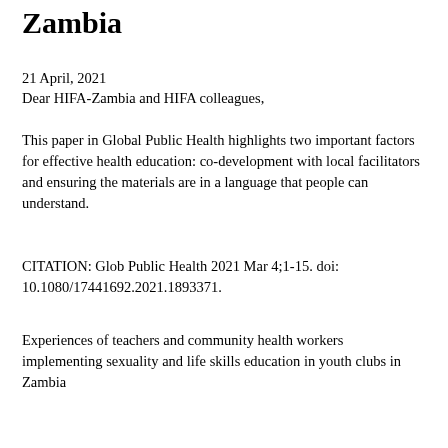Zambia
21 April, 2021
Dear HIFA-Zambia and HIFA colleagues,
This paper in Global Public Health highlights two important factors for effective health education: co-development with local facilitators and ensuring the materials are in a language that people can understand.
CITATION: Glob Public Health 2021 Mar 4;1-15. doi: 10.1080/17441692.2021.1893371.
Experiences of teachers and community health workers implementing sexuality and life skills education in youth clubs in Zambia
...